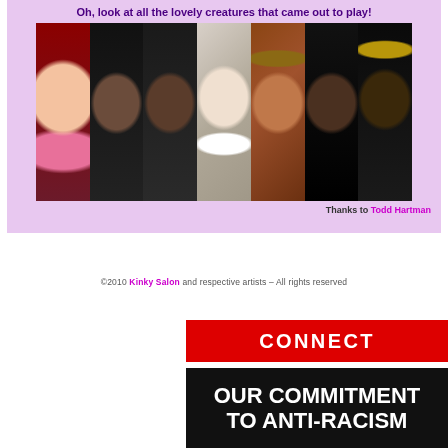Oh, look at all the lovely creatures that came out to play!
[Figure (photo): Horizontal photo strip showing seven costumed/masked party-goers at what appears to be a masquerade or themed event. From left: woman with red hair in pink top, two men in dark clothing, woman in clown makeup, man in brown hat, woman in gold masquerade mask, woman in dark feathered headpiece.]
Thanks to Todd Hartman
©2010 Kinky Salon and respective artists – All rights reserved
CONNECT
[Figure (infographic): Black banner with bold white text reading OUR COMMITMENT TO ANTI-RACISM]